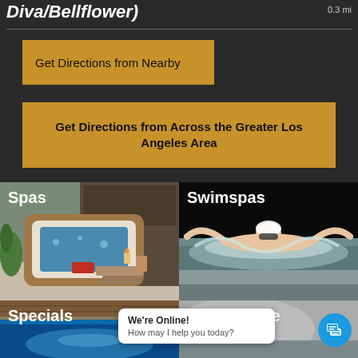Diva/Bellflower)
0.3 mi
Get Directions from Nearby
Get Directions from Across the Greater Los Angeles Area
[Figure (photo): Photo of a hot tub/spa with brown cabinet, white shell, steps and red towel, with the label 'Spas']
[Figure (photo): Photo of a person swimming butterfly stroke in a swim spa, with the label 'Swimspas']
[Figure (photo): Photo of an indoor pool or spa, with the label 'Specials']
[Figure (photo): Photo partially visible, with label 'Service' partially cut off]
We're Online!
How may I help you today?